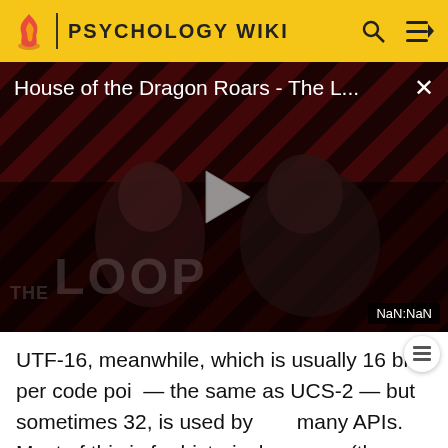PSYCHOLOGY WIKI
[Figure (screenshot): Video thumbnail for 'House of the Dragon Roars - The L...' showing two figures in dark lighting with diagonal red/black stripe pattern background, a play button in the center, 'THE LOOP' watermark text, and a NaN:NaN time badge in the bottom right corner. An X close button is in the top right.]
UTF-16, meanwhile, which is usually 16 bits per code point — the same as UCS-2 — but sometimes 32, is used by many APIs. Most of this is for historical reasons (they date from the days when Unicode was UCS-2 based or interface with other APIs that use UTF-16). UTF-16 is the